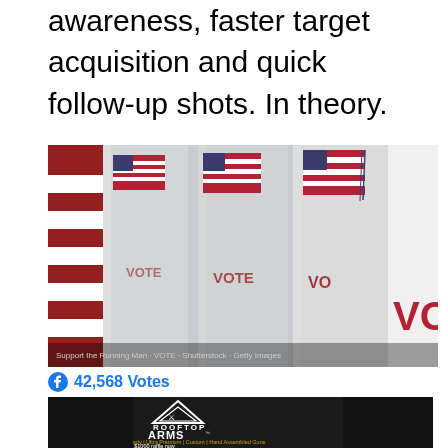awareness, faster target acquisition and quick follow-up shots. In theory.
[Figure (photo): Photograph of a row of voting booths with American flags and 'VOTE' text visible on the booth dividers]
42,568 Votes
[Figure (photo): Advertisement for Rooftop Arms - Range Ready, Ultra Premium, Custom, Hand Assembled Guns. Click to enter our $1000 raffle now. USA Made, Veteran Owned.]
ire an